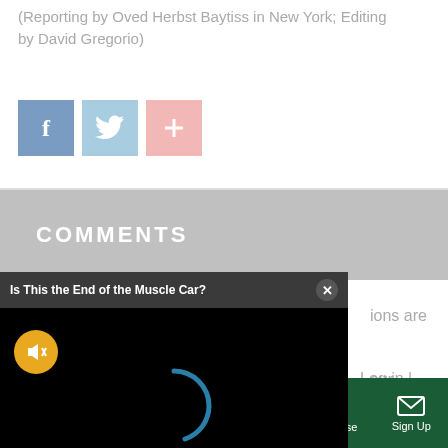(Reporting by Oved Lobel Baytiss in New York; Editing by David Gregorio)
[Figure (screenshot): Social sharing buttons: Facebook (blue), Twitter (light blue), and a plus/share button (pink)]
COMMENTS
[Figure (screenshot): A video popup overlay titled 'Is This the End of the Muscle Car?' with a black video player area showing a loading spinner (blue arc) and a muted button (orange circle with speaker-off icon), and a close button (X) in the top right corner]
ions are

our guidelines
Log in | Sign up
[Figure (screenshot): Bottom navigation bar with dark green background containing: Sections (hamburger menu), NY Edition (grid icon), Philly (grid icon), Games (gamepad icon), Advertise (phone icon), Sign Up (envelope icon)]